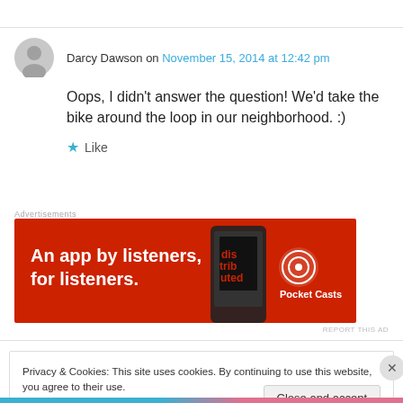Darcy Dawson on November 15, 2014 at 12:42 pm
Oops, I didn't answer the question! We'd take the bike around the loop in our neighborhood. :)
★ Like
[Figure (other): Pocket Casts advertisement banner: red background with phone image, text 'An app by listeners, for listeners.' and Pocket Casts logo]
REPORT THIS AD
Privacy & Cookies: This site uses cookies. By continuing to use this website, you agree to their use.
To find out more, including how to control cookies, see here: Cookie Policy
Close and accept